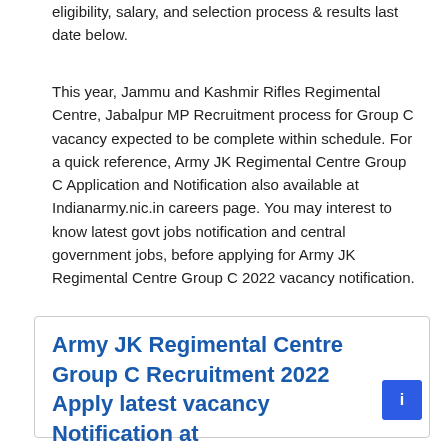eligibility, salary, and selection process & results last date below.
This year, Jammu and Kashmir Rifles Regimental Centre, Jabalpur MP Recruitment process for Group C vacancy expected to be complete within schedule. For a quick reference, Army JK Regimental Centre Group C Application and Notification also available at Indianarmy.nic.in careers page. You may interest to know latest govt jobs notification and central government jobs, before applying for Army JK Regimental Centre Group C 2022 vacancy notification.
Army JK Regimental Centre Group C Recruitment 2022 Apply latest vacancy Notification at Indianarmy.nic.in